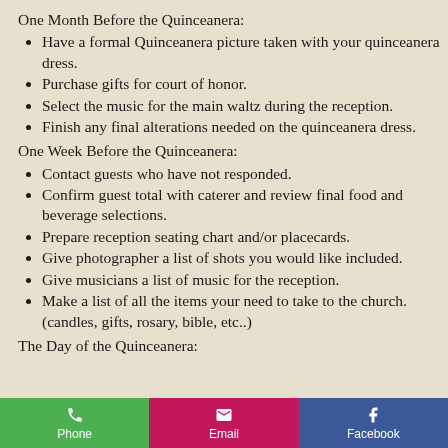One Month Before the Quinceanera:
Have a formal Quinceanera picture taken with your quinceanera dress.
Purchase gifts for court of honor.
Select the music for the main waltz during the reception.
Finish any final alterations needed on the quinceanera dress.
One Week Before the Quinceanera:
Contact guests who have not responded.
Confirm guest total with caterer and review final food and beverage selections.
Prepare reception seating chart and/or placecards.
Give photographer a list of shots you would like included.
Give musicians a list of music for the reception.
Make a list of all the items your need to take to the church. (candles, gifts, rosary, bible, etc..)
The Day of the Quinceanera:
Phone | Email | Facebook